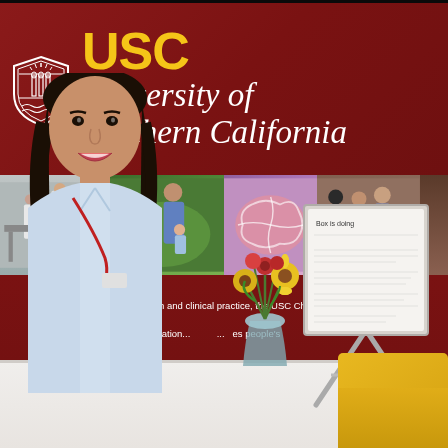[Figure (photo): A smiling young woman with dark wavy hair stands behind a white booth/conference desk. She is wearing a light blue sleeveless top and a red lanyard. Behind her is a large maroon USC (University of Southern California) banner with the USC shield logo in white and gold text reading 'USC University of Southern California'. Below the main logo area is a strip of four photos showing various USC activities including lab research, a parent with child, a colorful brain illustration, and a family group. Below the photo strip is additional maroon-colored text about innovative research, education and clinical practice at USC Chan Occupational Science. There is a vase of yellow and red flowers on the desk, and a metal display easel with papers on the right side. A yellow chair or item is visible at bottom right.]